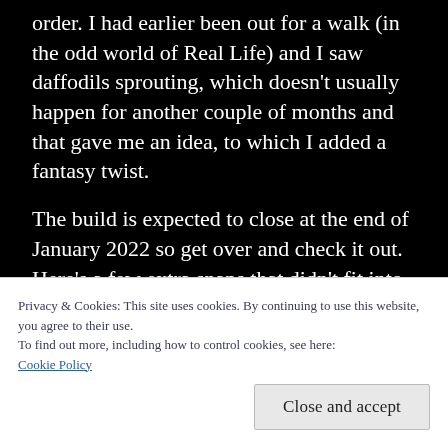order. I had earlier been out for a walk (in the odd world of Real Life) and I saw daffodils sprouting, which doesn't usually happen for another couple of months and that gave me an idea, to which I added a fantasy twist.
The build is expected to close at the end of January 2022 so get over and check it out. Here's a few extra snaps that didn't fit into the story:
Privacy & Cookies: This site uses cookies. By continuing to use this website, you agree to their use.
To find out more, including how to control cookies, see here:
Cookie Policy
Close and accept